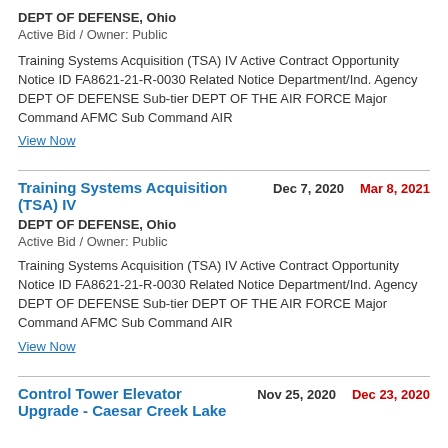DEPT OF DEFENSE, Ohio
Active Bid / Owner: Public
Training Systems Acquisition (TSA) IV Active Contract Opportunity Notice ID FA8621-21-R-0030 Related Notice Department/Ind. Agency DEPT OF DEFENSE Sub-tier DEPT OF THE AIR FORCE Major Command AFMC Sub Command AIR
View Now
Training Systems Acquisition (TSA) IV
Dec 7, 2020
Mar 8, 2021
DEPT OF DEFENSE, Ohio
Active Bid / Owner: Public
Training Systems Acquisition (TSA) IV Active Contract Opportunity Notice ID FA8621-21-R-0030 Related Notice Department/Ind. Agency DEPT OF DEFENSE Sub-tier DEPT OF THE AIR FORCE Major Command AFMC Sub Command AIR
View Now
Control Tower Elevator Upgrade - Caesar Creek Lake
Nov 25, 2020
Dec 23, 2020